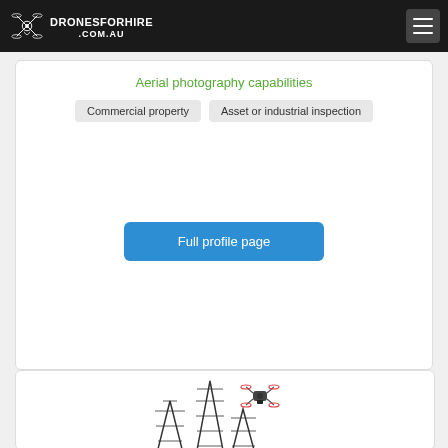DRONESFORHIRE .COM.AU
Aerial photography capabilities
Commercial property
Asset or industrial inspection
Full profile page
[Figure (illustration): Drone flying over city skyscrapers illustration]